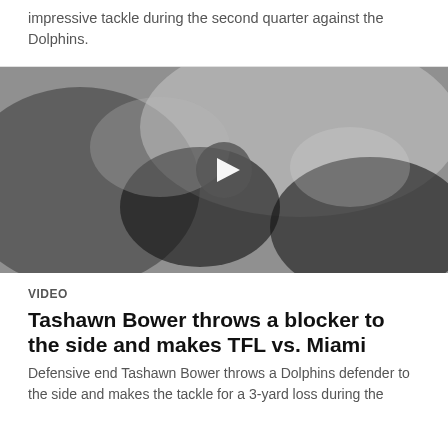impressive tackle during the second quarter against the Dolphins.
[Figure (photo): Blurred grayscale video thumbnail of a football tackle play with a circular play button overlay in the center]
VIDEO
Tashawn Bower throws a blocker to the side and makes TFL vs. Miami
Defensive end Tashawn Bower throws a Dolphins defender to the side and makes the tackle for a 3-yard loss during the